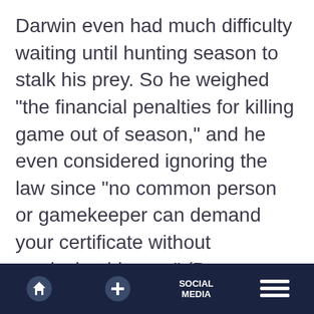Darwin even had much difficulty waiting until hunting season to stalk his prey. So he weighed "the financial penalties for killing game out of season," and he even considered ignoring the law since "no common person or gamekeeper can demand your certificate without producing his own" (Browne, p. 110). He was also very aware that he had an obsession with shooting and killing animals, for he once said: "I must have been half-consciously ashamed of my zeal, for I tried to persuade myself that shooting was almost an
Home | + | SOCIAL MEDIA | Menu